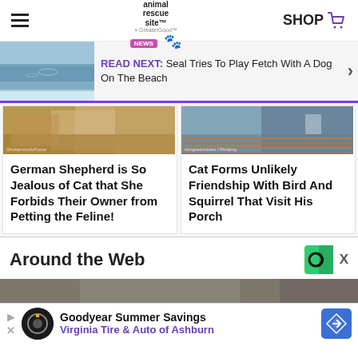the animal rescue site news | SHOP
[Figure (screenshot): Read Next banner: beach/ocean photo thumbnail with text 'READ NEXT: Seal Tries To Play Fetch With A Dog On The Beach']
[Figure (photo): German Shepherd close-up photo thumbnail]
German Shepherd is So Jealous of Cat that She Forbids Their Owner from Petting the Feline!
[Figure (photo): Cat on porch photo thumbnail]
Cat Forms Unlikely Friendship With Bird And Squirrel That Visit His Porch
Around the Web
[Figure (photo): Partial image preview at bottom]
Goodyear Summer Savings Virginia Tire & Auto of Ashburn